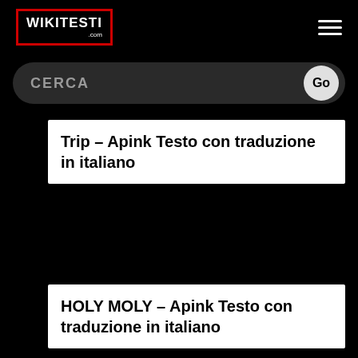WIKITESTI .com
CERCA Go
Trip – Apink Testo con traduzione in italiano
HOLY MOLY – Apink Testo con traduzione in italiano